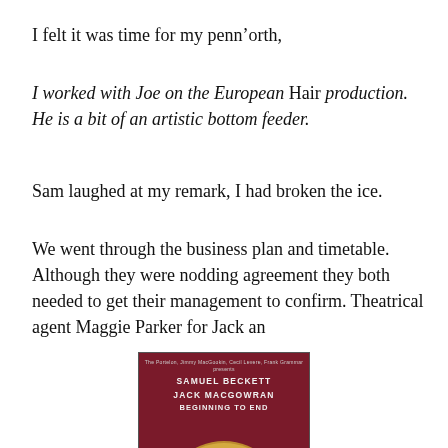I felt it was time for my penn’orth,
I worked with Joe on the European Hair production. He is a bit of an artistic bottom feeder.
Sam laughed at my remark, I had broken the ice.
We went through the business plan and timetable. Although they were nodding agreement they both needed to get their management to confirm. Theatrical agent Maggie Parker for Jack an
[Figure (photo): Book cover for 'Beginning to End' presented by Samuel Beckett and Jack MacGowran, dark red/maroon background with a circular organic texture image at the bottom and text at the top.]